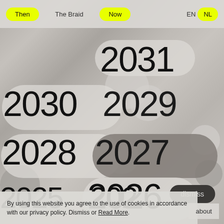Then   The Braid   Now   EN   NL
[Figure (screenshot): Website interface showing year navigation with large year numbers (2031, 2030, 2029, 2028, 2027, 2026, 2025) displayed on a concrete-textured background with pill-shaped and circular white/grey overlays. Navigation bar at top with 'Then', 'The Braid', 'Now' labels and EN/NL language toggles. A dark 'dismiss' button visible near bottom center.]
By using this website you agree to the use of cookies in accordance with our privacy policy. Dismiss or Read More.